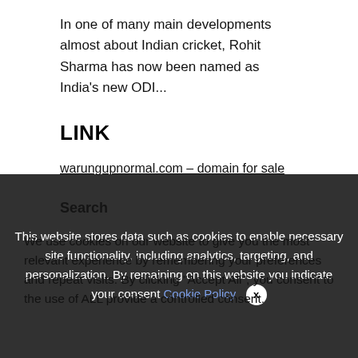In one of many main developments almost about Indian cricket, Rohit Sharma has now been named as India's new ODI...
LINK
warungupnormal.com – domain for sale
Search
We use cookies on our website to give you the most relevant experience by remembering your preferences and repeat visits. By clicking "Accept All", you consent to the use of ALL provide a controlled consent.
This website stores data such as cookies to enable necessary site functionality, including analytics, targeting, and personalization. By remaining on this website you indicate your consent Cookie Policy